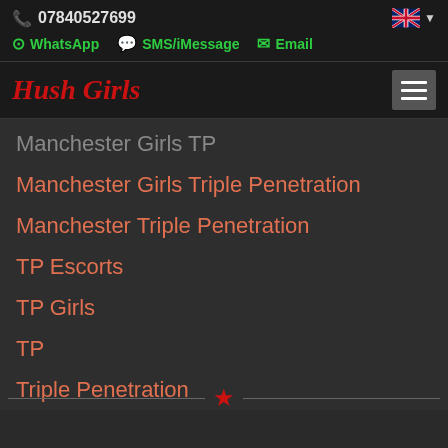📞 07840527699
WhatsApp  SMS/iMessage  Email
Hush Girls
Manchester Girls TP
Manchester Girls Triple Penetration
Manchester Triple Penetration
TP Escorts
TP Girls
TP
Triple Penetration